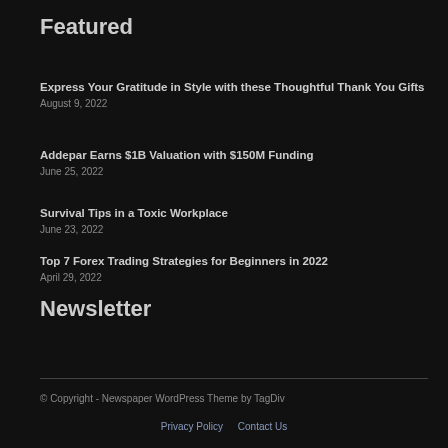Featured
Express Your Gratitude in Style with these Thoughtful Thank You Gifts
August 9, 2022
Addepar Earns $1B Valuation with $150M Funding
June 25, 2022
Survival Tips in a Toxic Workplace
June 23, 2022
Top 7 Forex Trading Strategies for Beginners in 2022
April 29, 2022
Newsletter
© Copyright - Newspaper WordPress Theme by TagDiv
Privacy Policy    Contact Us